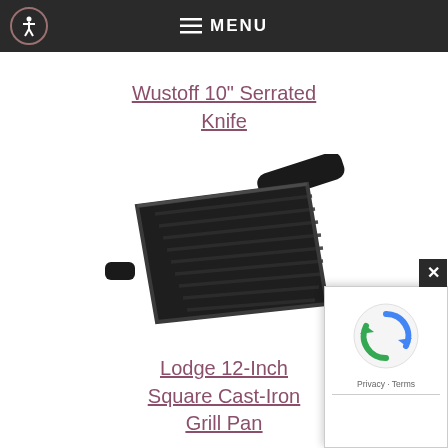≡ MENU
Wustoff 10" Serrated Knife
[Figure (photo): Lodge 12-Inch Square Cast-Iron Grill Pan product photo — a dark cast iron square grill pan with ridged cooking surface and a long handle extending to the upper right, plus a small helper handle on the left side.]
Lodge 12-Inch Square Cast-Iron Grill Pan